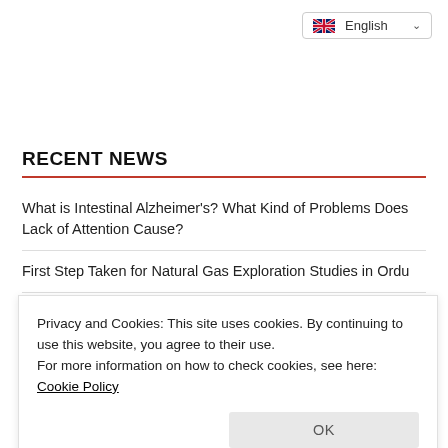[Figure (screenshot): Language selector dropdown showing English with flag icon and chevron in top-right corner]
RECENT NEWS
What is Intestinal Alzheimer's? What Kind of Problems Does Lack of Attention Cause?
First Step Taken for Natural Gas Exploration Studies in Ordu
Ankara Fish Market and Capital Districts Terminal Opening...
Privacy and Cookies: This site uses cookies. By continuing to use this website, you agree to their use.
For more information on how to check cookies, see here: Cookie Policy
Beam Installation in Çayırova Turgut Özal Bridge Has Been...